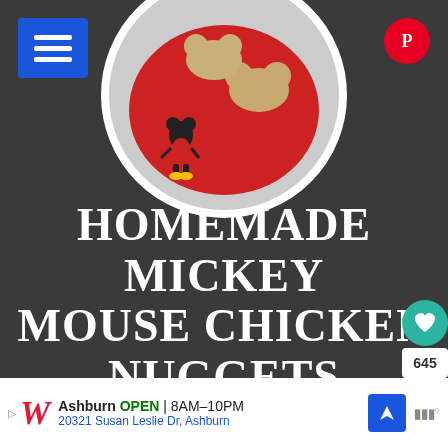[Figure (photo): Circular food photo showing Mickey Mouse shaped chicken nuggets on a red plate with a Mickey Mouse figurine, on a dark background]
HOMEMADE MICKEY MOUSE CHICKEN NUGGETS
yield: ABOUT 12 NUGGETS
prep time: 15 MINUTES
Ashburn OPEN | 8AM–10PM 20321 Susan Leslie Dr, Ashburn